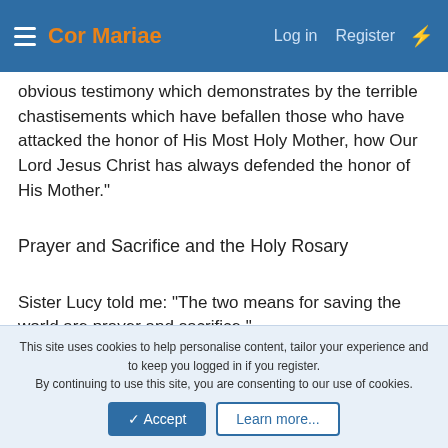Cor Mariae  Log in  Register
obvious testimony which demonstrates by the terrible chastisements which have befallen those who have attacked the honor of His Most Holy Mother, how Our Lord Jesus Christ has always defended the honor of His Mother."
Prayer and Sacrifice and the Holy Rosary
Sister Lucy told me: "The two means for saving the world are prayer and sacrifice."
This site uses cookies to help personalise content, tailor your experience and to keep you logged in if you register.
By continuing to use this site, you are consenting to our use of cookies.